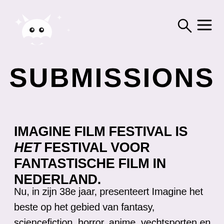Imagine Film Festival logo, search icon, menu icon
SUBMISSIONS
IMAGINE FILM FESTIVAL IS HET FESTIVAL VOOR FANTASTISCHE FILM IN NEDERLAND.
Nu, in zijn 38e jaar, presenteert Imagine het beste op het gebied van fantasy, sciencefiction, horror, anime, vechtsporten en cult. Panelen, masterclasses, tentoonstellingen en workshops zorgen voor diepere inzichten